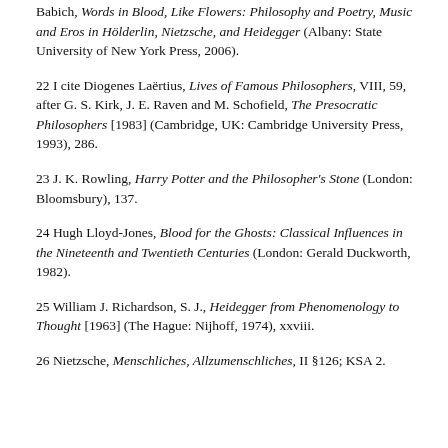Babich, Words in Blood, Like Flowers: Philosophy and Poetry, Music and Eros in Hölderlin, Nietzsche, and Heidegger (Albany: State University of New York Press, 2006).
22 I cite Diogenes Laërtius, Lives of Famous Philosophers, VIII, 59, after G. S. Kirk, J. E. Raven and M. Schofield, The Presocratic Philosophers [1983] (Cambridge, UK: Cambridge University Press, 1993), 286.
23 J. K. Rowling, Harry Potter and the Philosopher's Stone (London: Bloomsbury), 137.
24 Hugh Lloyd-Jones, Blood for the Ghosts: Classical Influences in the Nineteenth and Twentieth Centuries (London: Gerald Duckworth, 1982).
25 William J. Richardson, S. J., Heidegger from Phenomenology to Thought [1963] (The Hague: Nijhoff, 1974), xxviii.
26 Nietzsche, Menschliches, Allzumenschliches, II §126; KSA 2.